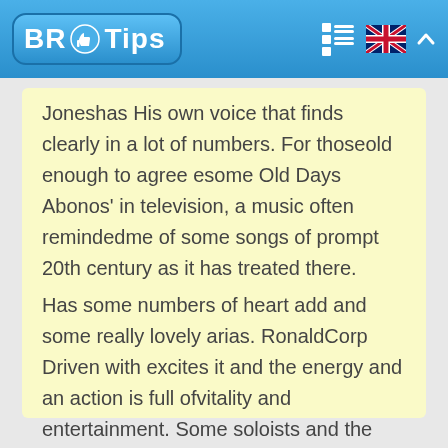BR Tips
Joneshas His own voice that finds clearly in a lot of numbers. For thoseold enough to agree esome Old Days Abonos' in television, a music often remindedme of some songs of prompt 20th century as it has treated there.
Has some numbers of heart add and some really lovely arias. RonaldCorp Driven with excites it and the energy and an action is full ofvitality and entertainment. Some soloists and the heart are excellent.
Highly recommended!